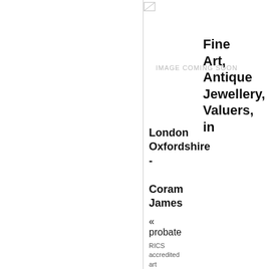[Figure (other): Image coming soon placeholder with a small icon at top and vertical dividing lines]
Fine Art, Antique Jewellery, Valuers, in
London
Oxfordshire
-
Coram James
«
probate
RICS accredited art and antique valuers and advisors specialising in